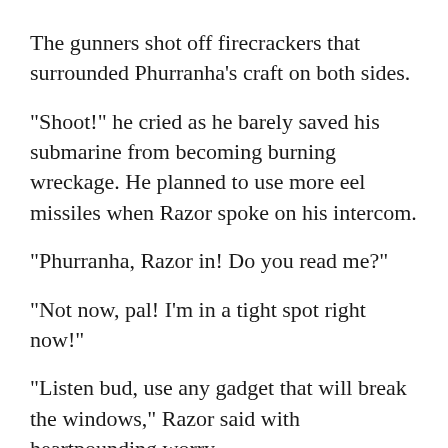The gunners shot off firecrackers that surrounded Phurranha's craft on both sides.
“Shoot!” he cried as he barely saved his submarine from becoming burning wreckage. He planned to use more eel missiles when Razor spoke on his intercom.
“Phurranha, Razor in! Do you read me?”
“Not now, pal! I’m in a tight spot right now!”
“Listen bud, use any gadget that will break the windows,” Razor said with heartpounding worry.
The only thing Phurranha had was his darts.
“It’s the only thing I got!” he thought as he pulled